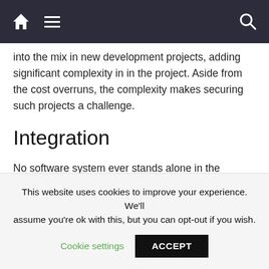Navigation bar with home, menu, and search icons
into the mix in new development projects, adding significant complexity in in the project. Aside from the cost overruns, the complexity makes securing such projects a challenge.
Integration
No software system ever stands alone in the infrastructure, there are always some form of integration with external systems involved in the development. Depending on the age of any legacy systems that the new application needs to integrate
This website uses cookies to improve your experience. We'll assume you're ok with this, but you can opt-out if you wish. Cookie settings  ACCEPT